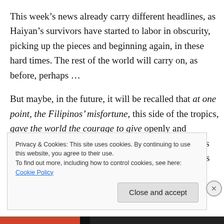This week's news already carry different headlines, as Haiyan's survivors have started to labor in obscurity, picking up the pieces and beginning again, in these hard times. The rest of the world will carry on, as before, perhaps …
But maybe, in the future, it will be recalled that at one point, the Filipinos' misfortune, this side of the tropics, gave the world the courage to give openly and willingly… This gift of compassion, in turn, gave us the wherewithal and the strength to start again, press on and
Privacy & Cookies: This site uses cookies. By continuing to use this website, you agree to their use.
To find out more, including how to control cookies, see here: Cookie Policy